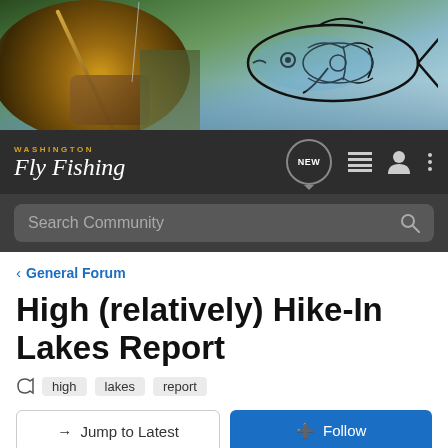[Figure (photo): Hero banner showing a fly fishing reel and rod with an illustrated salmon/fish logo on the right, blue water and green foliage in background]
WASHINGTON Fly Fishing
Search Community
< General Forum
High (relatively) Hike-In Lakes Report
high
lakes
report
→ Jump to Latest
+ Follow
1 - 4 of 4 Posts